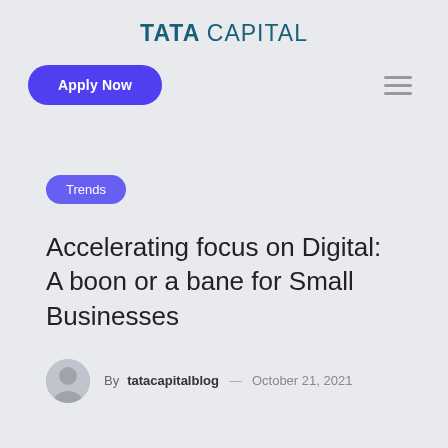TATA CAPITAL
Apply Now
Trends
Accelerating focus on Digital: A boon or a bane for Small Businesses
By tatacapitalblog — October 21, 2021